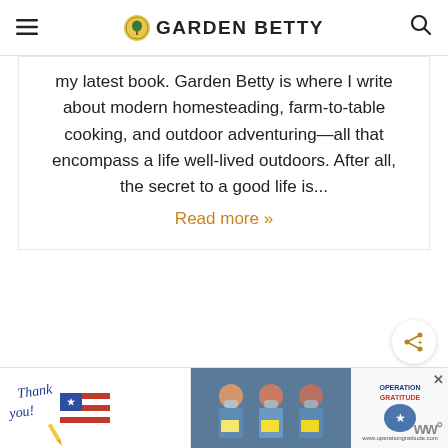GARDEN BETTY
my latest book. Garden Betty is where I write about modern homesteading, farm-to-table cooking, and outdoor adventuring—all that encompass a life well-lived outdoors. After all, the secret to a good life is...
Read more »
200 COMMENTS
WHAT'S NEXT → Easy Bee Identificatio...
LARRY PEITERSEN
[Figure (screenshot): Advertisement banner: Thank You / Operation Gratitude ad with healthcare workers photo]